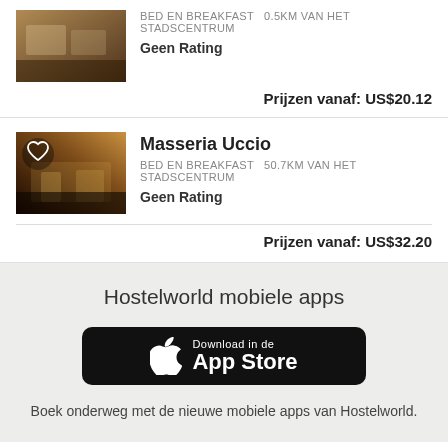[Figure (photo): Partial view of a bed and breakfast listing card with a photo of an interior dining scene]
BED EN BREAKFAST  0.5km van het stadscentrum
Geen Rating
Prijzen vanaf:  US$20.12
[Figure (photo): Photo of Masseria Uccio, a bed and breakfast, showing a building lit at night with a heart/favorite icon overlay]
Masseria Uccio
BED EN BREAKFAST  50.7km van het stadscentrum
Geen Rating
Prijzen vanaf:  US$32.20
Hostelworld mobiele apps
[Figure (logo): Download in de App Store button - black rounded rectangle with Apple logo and text]
Boek onderweg met de nieuwe mobiele apps van Hostelworld.